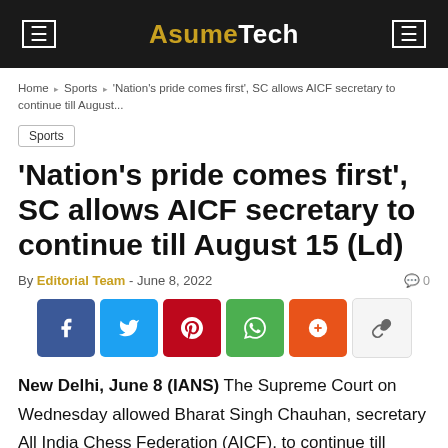AsumeTech
Home › Sports › 'Nation's pride comes first', SC allows AICF secretary to continue till August...
Sports
'Nation's pride comes first', SC allows AICF secretary to continue till August 15 (Ld)
By Editorial Team - June 8, 2022
[Figure (infographic): Social sharing buttons: Facebook, Twitter, Pinterest, WhatsApp, Mix, Copy link]
New Delhi, June 8 (IANS) The Supreme Court on Wednesday allowed Bharat Singh Chauhan, secretary All India Chess Federation (AICF), to continue till August 15, in view of the